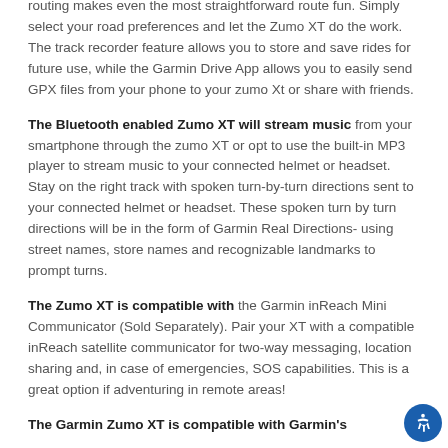routing makes even the most straightforward route fun. Simply select your road preferences and let the Zumo XT do the work. The track recorder feature allows you to store and save rides for future use, while the Garmin Drive App allows you to easily send GPX files from your phone to your zumo Xt or share with friends.
The Bluetooth enabled Zumo XT will stream music from your smartphone through the zumo XT or opt to use the built-in MP3 player to stream music to your connected helmet or headset. Stay on the right track with spoken turn-by-turn directions sent to your connected helmet or headset. These spoken turn by turn directions will be in the form of Garmin Real Directions- using street names, store names and recognizable landmarks to prompt turns.
The Zumo XT is compatible with the Garmin inReach Mini Communicator (Sold Separately). Pair your XT with a compatible inReach satellite communicator for two-way messaging, location sharing and, in case of emergencies, SOS capabilities. This is a great option if adventuring in remote areas!
The Garmin Zumo XT is compatible with Garmin's